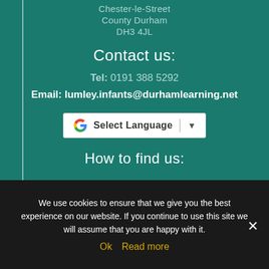Chester-le-Street
County Durham
DH3 4JL
Contact us:
Tel: 0191 388 5292
Email: lumley.infants@durhamlearning.net
[Figure (screenshot): Google Translate 'Select Language' button with Google G logo and dropdown arrow]
How to find us:
[Figure (map): Google Maps snippet showing Castle Dene area with road and partial labels 'reat Unique Riverside' and 'idge']
We use cookies to ensure that we give you the best experience on our website. If you continue to use this site we will assume that you are happy with it.
Ok  Read more